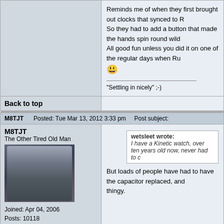Reminds me of when they first brought out clocks that synced to R... So they had to add a button that made the hands spin round wild... All good fun unless you did it on one of the regular days when Ru... :) "Settling in nicely" ;-)
Back to top
M8TJT
The Other Tired Old Man
Joined: Apr 04, 2006
Posts: 10118
Location: Bexhill, South Sussex, UK
Posted: Tue Mar 13, 2012 3:33 pm    Post subject:
wetsleet wrote:
I have a Kinetic watch, over ten years old now, never had to c...
But loads of people have had to have the capacitor replaced, and... thingy.
Back to top
DennisN
Tired Old Man
Posted: Tue Mar 13, 2012 5:55 pm    Post subject: Re: GPS on your wrist
Andy_P wrote: